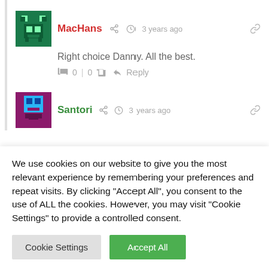[Figure (illustration): Pixel art avatar for MacHans with green background]
MacHans  3 years ago
Right choice Danny. All the best.
0 | 0  Reply
[Figure (illustration): Pixel art avatar for Santori with purple/maroon background]
Santori  3 years ago
We use cookies on our website to give you the most relevant experience by remembering your preferences and repeat visits. By clicking "Accept All", you consent to the use of ALL the cookies. However, you may visit "Cookie Settings" to provide a controlled consent.
Cookie Settings  Accept All